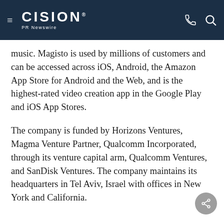CISION PR Newswire
music. Magisto is used by millions of customers and can be accessed across iOS, Android, the Amazon App Store for Android and the Web, and is the highest-rated video creation app in the Google Play and iOS App Stores.
The company is funded by Horizons Ventures, Magma Venture Partner, Qualcomm Incorporated, through its venture capital arm, Qualcomm Ventures, and SanDisk Ventures. The company maintains its headquarters in Tel Aviv, Israel with offices in New York and California.